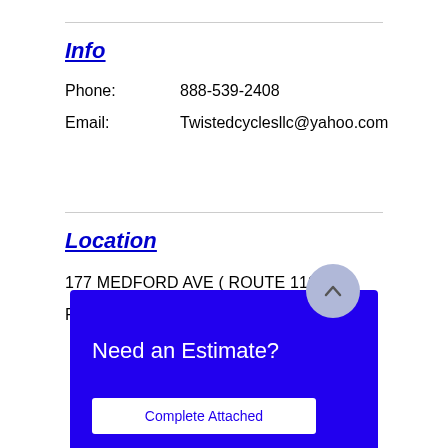Info
Phone:    888-539-2408
Email:    Twistedcyclesllc@yahoo.com
Location
177 MEDFORD AVE ( ROUTE 112)
PATCHOGUE NY, 11772
Need an Estimate?
Complete Attached